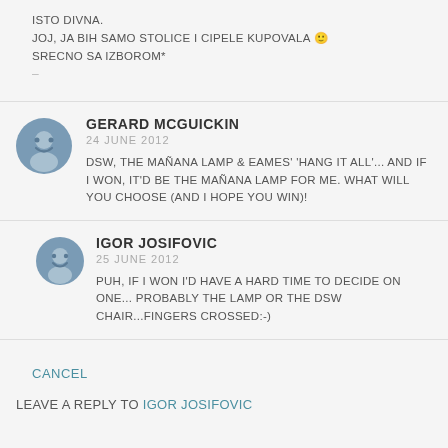ISTO DIVNA.
JOJ, JA BIH SAMO STOLICE I CIPELE KUPOVALA 🙂
SRECNO SA IZBOROM*
–
GERARD MCGUICKIN
24 JUNE 2012
DSW, THE MAÑANA LAMP & EAMES' 'HANG IT ALL'... AND IF I WON, IT'D BE THE MAÑANA LAMP FOR ME. WHAT WILL YOU CHOOSE (AND I HOPE YOU WIN)!
IGOR JOSIFOVIC
25 JUNE 2012
PUH, IF I WON I'D HAVE A HARD TIME TO DECIDE ON ONE... PROBABLY THE LAMP OR THE DSW CHAIR...FINGERS CROSSED:-)
CANCEL
LEAVE A REPLY TO IGOR JOSIFOVIC